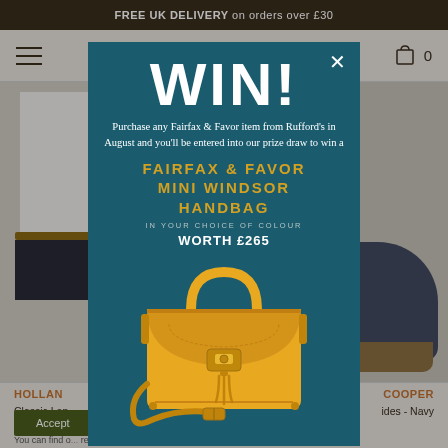FREE UK DELIVERY on orders over £30
[Figure (screenshot): E-commerce website background showing navigation bar with hamburger menu and cart icon showing 0 items, partial product images on left (person in white shirt with leather belt) and right (navy sandals), and cookie consent text below]
HOLLAN... COOPER
Classic Lon... ides - Navy
We are using ... ence on our website. You can find o... re using or switch them o...
[Figure (infographic): Modal popup on teal/dark cyan background with WIN! heading, promotional text about Fairfax & Favor prize draw, yellow handbag image, and close button]
Accept